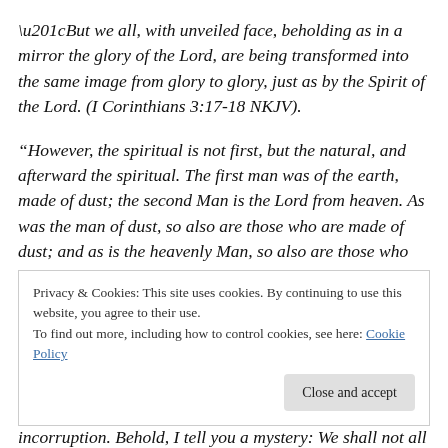“But we all, with unveiled face, beholding as in a mirror the glory of the Lord, are being transformed into the same image from glory to glory, just as by the Spirit of the Lord. (I Corinthians 3:17-18 NKJV).
“However, the spiritual is not first, but the natural, and afterward the spiritual. The first man was of the earth, made of dust; the second Man is the Lord from heaven. As was the man of dust, so also are those who are made of dust; and as is the heavenly Man, so also are those who
Privacy & Cookies: This site uses cookies. By continuing to use this website, you agree to their use.
To find out more, including how to control cookies, see here: Cookie Policy
Close and accept
incorruption. Behold, I tell you a mystery: We shall not all